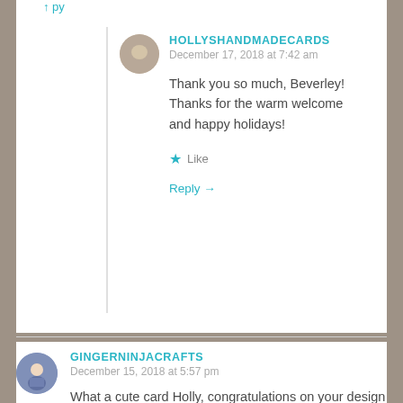Reply →
[Figure (photo): Circular avatar photo of hollyshandmadecards user showing flowers]
HOLLYSHANDMADECARDS
December 17, 2018 at 7:42 am
Thank you so much, Beverley! Thanks for the warm welcome and happy holidays!
★ Like
Reply →
[Figure (photo): Circular avatar photo of gingerninjacrafts user]
GINGERNINJACRAFTS
December 15, 2018 at 5:57 pm
What a cute card Holly, congratulations on your design team success too, wonderful news